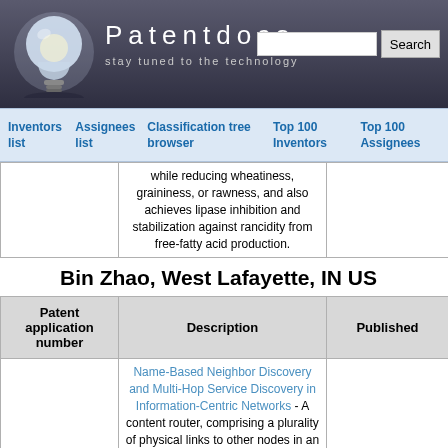[Figure (screenshot): Patentdocs website header with lightbulb logo, site title 'Patentdocs', subtitle 'stay tuned to the technology', and a search box with Search button]
Inventors list | Assignees list | Classification tree browser | Top 100 Inventors | Top 100 Assignees
| Patent application number | Description | Published |
| --- | --- | --- |
|  | while reducing wheatiness, graininess, or rawness, and also achieves lipase inhibition and stabilization against rancidity from free-fatty acid production. |  |
Bin Zhao, West Lafayette, IN US
| Patent application number | Description | Published |
| --- | --- | --- |
|  | Name-Based Neighbor Discovery and Multi-Hop Service Discovery in Information-Centric Networks - A content router, comprising a plurality of physical links to other nodes in an information centric network, a receiver coupled to the plurality of physical links configured to receive messages, a transmitter coupled to the plurality of physical links configured to |  |